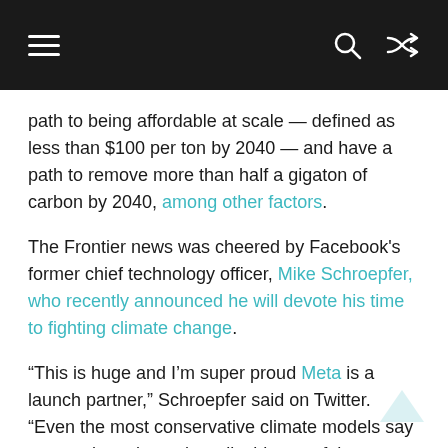Navigation bar with hamburger menu, search, and shuffle icons
path to being affordable at scale — defined as less than $100 per ton by 2040 — and have a path to remove more than half a gigaton of carbon by 2040, among other factors.
The Frontier news was cheered by Facebook's former chief technology officer, Mike Schroepfer, who recently announced he will devote his time to fighting climate change.
“This is huge and I’m super proud Meta is a launch partner,” Schroepfer said on Twitter. “Even the most conservative climate models say we need to take carbon dioxide out of the atmosphere to avert the worst of the climate crisis. Many cool technologies exist but they don’t have a market for